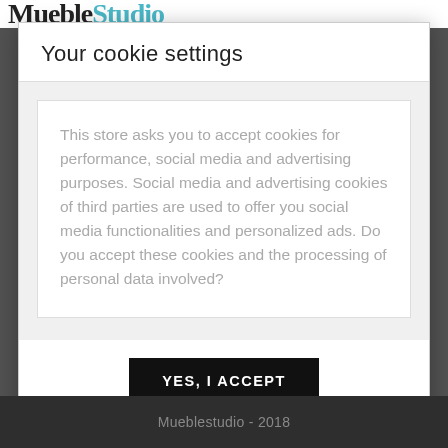[Figure (screenshot): Website logo showing 'Mueble' in dark text and 'Studio' in teal text at the top of the page]
Your cookie settings
This store asks you to accept cookies for performance, social media and advertising purposes. Social media and advertising cookies of third parties are used to offer you social media functionalities and personalized ads. Do you accept these cookies and the processing of personal data involved?
YES, I ACCEPT
More information
Mueblestudio - 2018